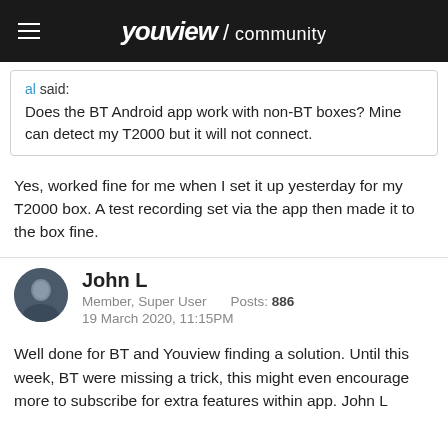youview / community
al said:
Does the BT Android app work with non-BT boxes? Mine can detect my T2000 but it will not connect.
Yes, worked fine for me when I set it up yesterday for my T2000 box. A test recording set via the app then made it to the box fine.
John L
Member, Super User    Posts: 886
19 March 2020, 11:15PM
Well done for BT and Youview finding a solution. Until this week, BT were missing a trick, this might even encourage more to subscribe for extra features within app. John L